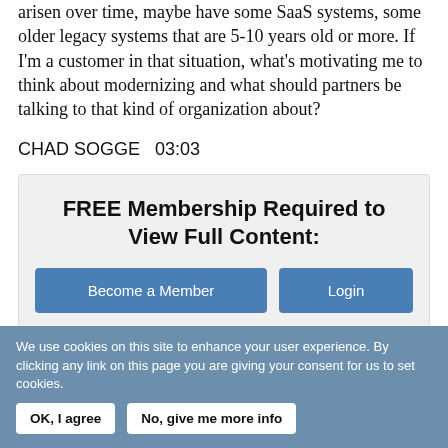arisen over time, maybe have some SaaS systems, some older legacy systems that are 5-10 years old or more. If I'm a customer in that situation, what's motivating me to think about modernizing and what should partners be talking to that kind of organization about?
CHAD SOGGE  03:03
FREE Membership Required to View Full Content:
Become a Member
Login
We use cookies on this site to enhance your user experience. By clicking any link on this page you are giving your consent for us to set cookies.
OK, I agree
No, give me more info